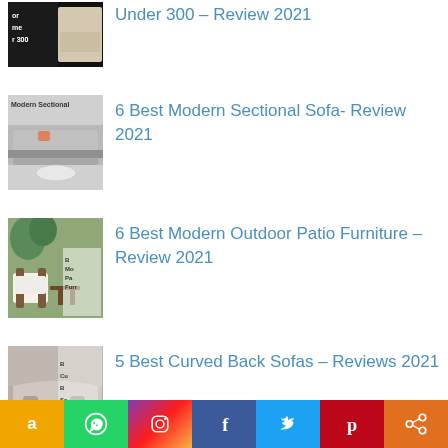Under 300 – Review 2021
6 Best Modern Sectional Sofa- Review 2021
6 Best Modern Outdoor Patio Furniture – Review 2021
5 Best Curved Back Sofas – Reviews 2021
[Figure (infographic): Social media sharing bar with icons for Amazon, WhatsApp, Instagram, Facebook, Twitter, Pinterest, and Share]